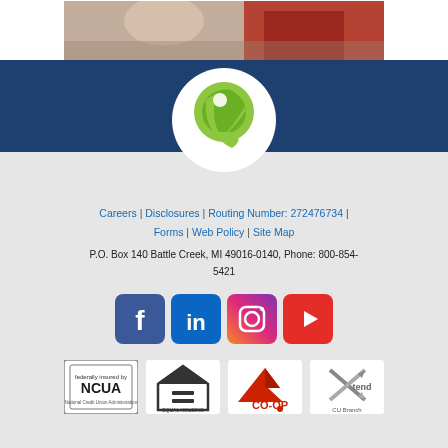[Figure (photo): Partial photo of hands/person cropped at top of page]
[Figure (logo): Credit union green circular logo with stylized 'e' or leaf shape on white circle background]
Careers | Disclosures | Routing Number: 272476734 | Forms | Web Policy | Site Map
P.O. Box 140 Battle Creek, MI 49016-0140, Phone: 800-854-5421
[Figure (logo): Social media icons row: Facebook, LinkedIn, Instagram, YouTube]
[Figure (logo): Footer compliance logos: NCUA, Equal Housing Opportunity, CO-OP, CU Xend/Branch]